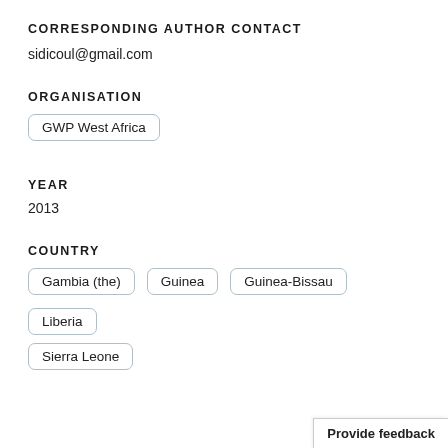CORRESPONDING AUTHOR CONTACT
sidicoul@gmail.com
ORGANISATION
GWP West Africa
YEAR
2013
COUNTRY
Gambia (the)  Guinea  Guinea-Bissau  Liberia  Sierra Leone
Provide feedback